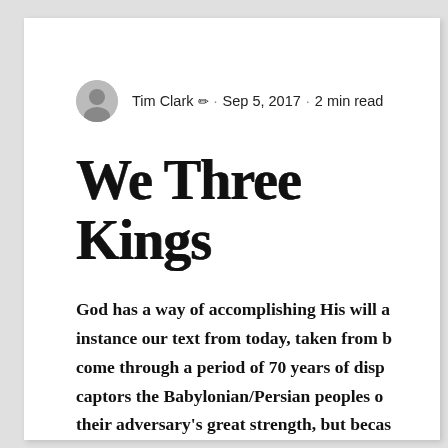Tim Clark ✏ · Sep 5, 2017 · 2 min read
We Three Kings
God has a way of accomplishing His will a... instance our text from today, taken from b... come through a period of 70 years of disp... captors the Babylonian/Persian peoples o... their adversary's great strength, but becas... to God. Having learned their painful lesso... infidelity, they find themselves in a strang...